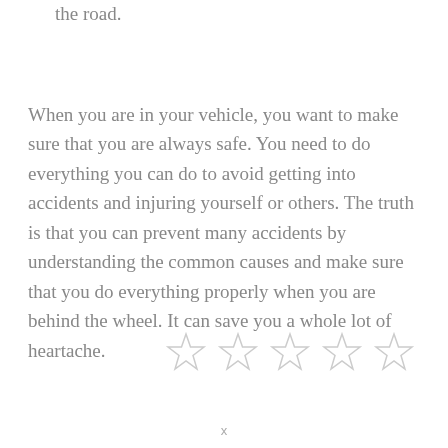the road.
When you are in your vehicle, you want to make sure that you are always safe. You need to do everything you can do to avoid getting into accidents and injuring yourself or others. The truth is that you can prevent many accidents by understanding the common causes and make sure that you do everything properly when you are behind the wheel. It can save you a whole lot of heartache.
[Figure (other): Five empty star rating icons in a row]
x